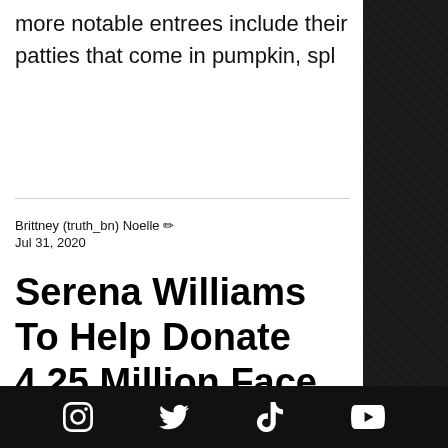more notable entrees include their patties that come in pumpkin, spl
Brittney (truth_bn) Noelle ✏ Jul 31, 2020
Serena Williams To Help Donate 4.25 Million Face Masks To Schools Ahead Of Their Highly Anticipated
Social media icons: Instagram, Twitter, TikTok, YouTube